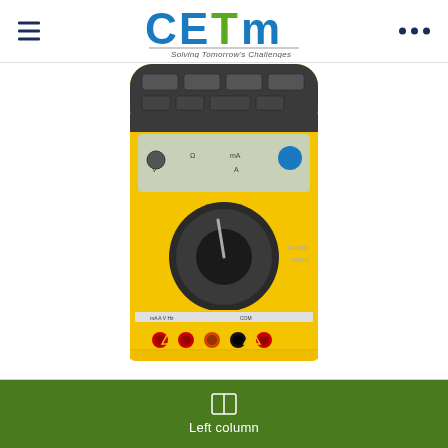CETM - Solving Tomorrow's Challenges
[Figure (photo): Fluke 789 ProcessMeter handheld multimeter with yellow casing, rotary selector dial, display, buttons, and red/black test probe ports at bottom]
Fluke 789 ProcessMeter
Left column